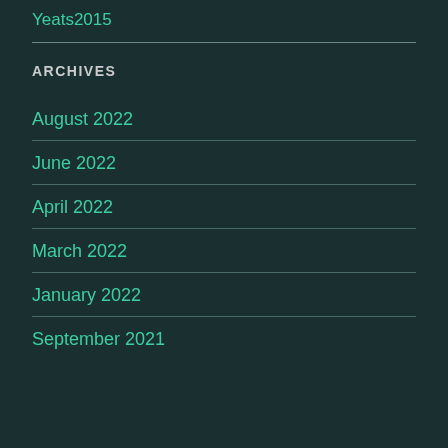Yeats2015
ARCHIVES
August 2022
June 2022
April 2022
March 2022
January 2022
September 2021